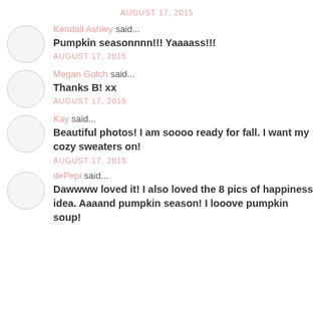AUGUST 17, 2015
Kendall Ashley said...
Pumpkin seasonnnn!!! Yaaaass!!!
AUGUST 17, 2015
Megan Gotch said...
Thanks B! xx
AUGUST 17, 2015
Kay said...
Beautiful photos! I am soooo ready for fall. I want my cozy sweaters on!
AUGUST 17, 2015
dePepi said...
Dawwww loved it! I also loved the 8 pics of happiness idea. Aaaand pumpkin season! I looove pumpkin soup!